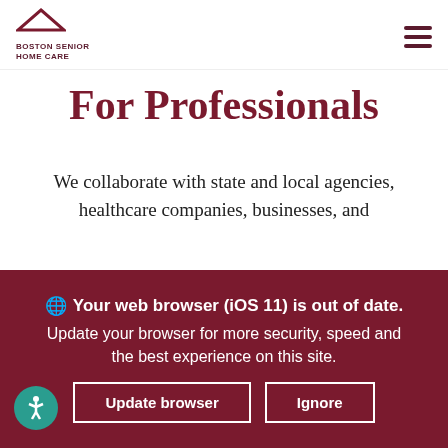[Figure (logo): Boston Senior Home Care logo with triangular roof icon and text]
For Professionals
We collaborate with state and local agencies, healthcare companies, businesses, and [text continues behind modal] ...ecting the ...y on us for ...orts.
Notice
Boston Senior Home Care uses cookies to provide necessary website functionality, improve your web experience and allows us to analyze traffic. Continuing to use...
Your web browser (iOS 11) is out of date. Update your browser for more security, speed and the best experience on this site.